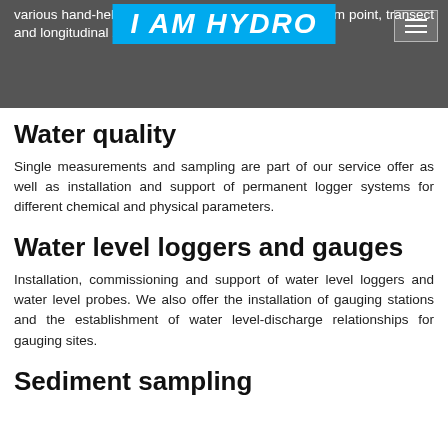various hand-held velocimeters and ADCP. We perform point, transect and longitudinal 2D and 3D velocity profiles.
[Figure (logo): I AM HYDRO logo in blue on cyan background]
Water quality
Single measurements and sampling are part of our service offer as well as installation and support of permanent logger systems for different chemical and physical parameters.
Water level loggers and gauges
Installation, commissioning and support of water level loggers and water level probes. We also offer the installation of gauging stations and the establishment of water level-discharge relationships for gauging sites.
Sediment sampling